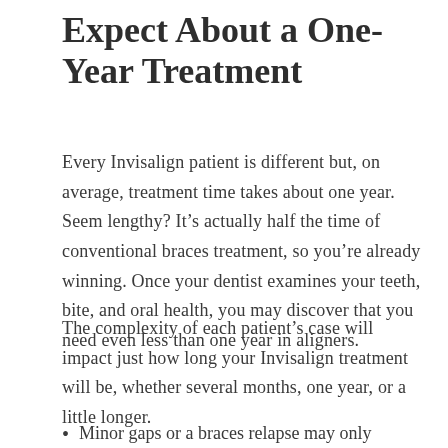Expect About a One-Year Treatment
Every Invisalign patient is different but, on average, treatment time takes about one year. Seem lengthy? It’s actually half the time of conventional braces treatment, so you’re already winning. Once your dentist examines your teeth, bite, and oral health, you may discover that you need even less than one year in aligners.
The complexity of each patient’s case will impact just how long your Invisalign treatment will be, whether several months, one year, or a little longer.
Minor gaps or a braces relapse may only